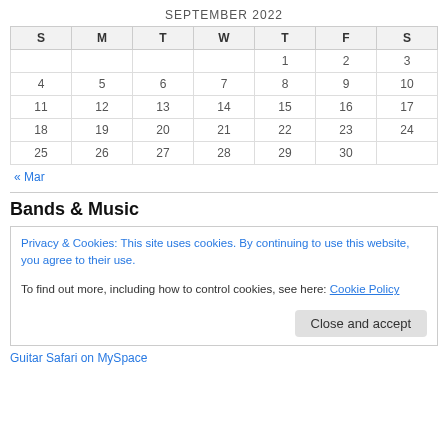SEPTEMBER 2022
| S | M | T | W | T | F | S |
| --- | --- | --- | --- | --- | --- | --- |
|  |  |  |  | 1 | 2 | 3 |
| 4 | 5 | 6 | 7 | 8 | 9 | 10 |
| 11 | 12 | 13 | 14 | 15 | 16 | 17 |
| 18 | 19 | 20 | 21 | 22 | 23 | 24 |
| 25 | 26 | 27 | 28 | 29 | 30 |  |
« Mar
Bands & Music
Privacy & Cookies: This site uses cookies. By continuing to use this website, you agree to their use. To find out more, including how to control cookies, see here: Cookie Policy
Close and accept
Guitar Safari on MySpace